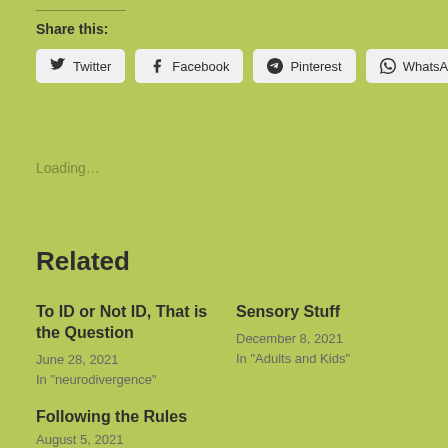Share this:
Twitter
Facebook
Pinterest
WhatsApp
Loading...
Related
To ID or Not ID, That is the Question
June 28, 2021
In "neurodivergence"
Sensory Stuff
December 8, 2021
In "Adults and Kids"
Following the Rules
August 5, 2021
In "atypical"